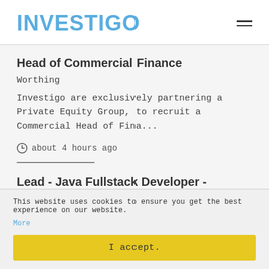INVESTIGO
Head of Commercial Finance
Worthing
Investigo are exclusively partnering a Private Equity Group, to recruit a Commercial Head of Fina...
about 4 hours ago
Lead - Java Fullstack Developer - Java/Angular
This website uses cookies to ensure you get the best experience on our website. More
I accept.